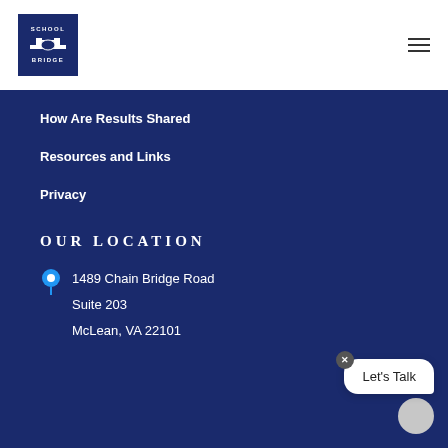[Figure (logo): School Bridge logo: dark navy blue square with 'SCHOOL' at top, a book/bridge icon in the middle, and 'BRIDGE' at the bottom, all in white text]
How Are Results Shared
Resources and Links
Privacy
OUR LOCATION
1489 Chain Bridge Road
Suite 203
McLean, VA 22101